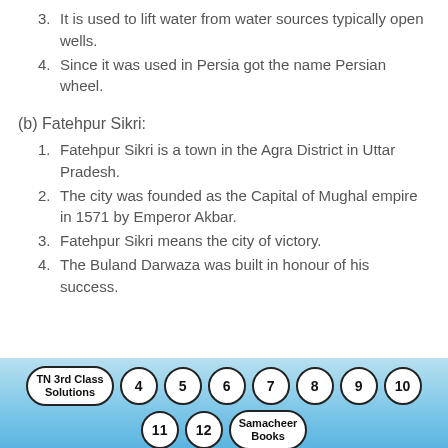3. It is used to lift water from water sources typically open wells.
4. Since it was used in Persia got the name Persian wheel.
(b) Fatehpur Sikri:
1. Fatehpur Sikri is a town in the Agra District in Uttar Pradesh.
2. The city was founded as the Capital of Mughal empire in 1571 by Emperor Akbar.
3. Fatehpur Sikri means the city of victory.
4. The Buland Darwaza was built in honour of his success.
TN 3rd Class Solutions | 4 | 5 | 6 | 7 | 8 | 9 | 10 | 11 | 12 | Samacheer Books